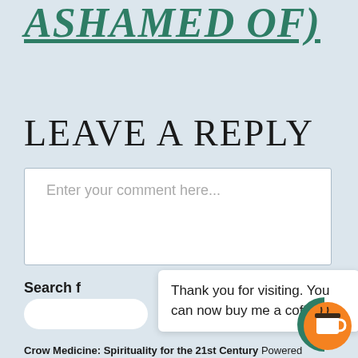ASHAMED OF)
LEAVE A REPLY
Enter your comment here...
Search f
Thank you for visiting. You can now buy me a coffee!
Crow Medicine: Spirituality for the 21st Century Powered